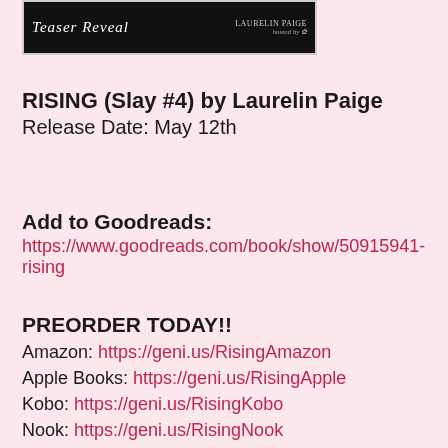[Figure (photo): Black book cover image with 'Teaser Reveal' text in cursive and 'Laurelin Paige' text on the right side]
RISING (Slay #4) by Laurelin Paige
Release Date: May 12th
Add to Goodreads:
https://www.goodreads.com/book/show/50915941-rising
PREORDER TODAY!!
Amazon: https://geni.us/RisingAmazon
Apple Books: https://geni.us/RisingApple
Kobo: https://geni.us/RisingKobo
Nook: https://geni.us/RisingNook
Google Play: https://geni.us/RisingGoogle